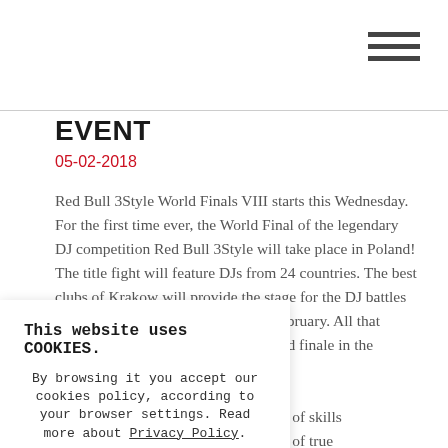EVENT
05-02-2018
Red Bull 3Style World Finals VIII starts this Wednesday. For the first time ever, the World Final of the legendary DJ competition Red Bull 3Style will take place in Poland! The title fight will feature DJs from 24 countries. The best clubs of Krakow will provide the stage for the DJ battles that will energize the first week of February. All that action will be highlighted by the grand finale in the Slowacki Theatre. The ... the highest level of skills ... ury is composed of true ...: DJ Jazzy Jeff, Nina Las ... DJ Nu-Mark.
This website uses COOKIES. By browsing it you accept our cookies policy, according to your browser settings. Read more about Privacy Policy. OK, close